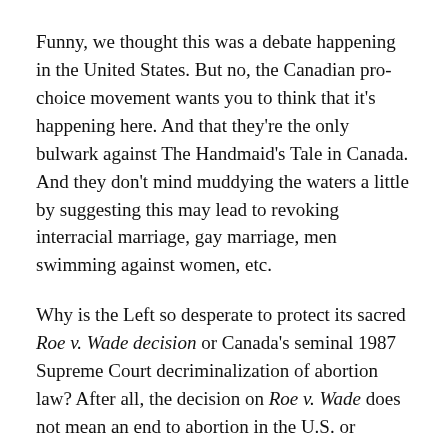Funny, we thought this was a debate happening in the United States. But no, the Canadian pro-choice movement wants you to think that it's happening here. And that they're the only bulwark against The Handmaid's Tale in Canada. And they don't mind muddying the waters a little by suggesting this may lead to revoking interracial marriage, gay marriage, men swimming against women, etc.
Why is the Left so desperate to protect its sacred Roe v. Wade decision or Canada's seminal 1987 Supreme Court decriminalization of abortion law? After all, the decision on Roe v. Wade does not mean an end to abortion in the U.S. or Canada. It means that all 50 U.S. states will once again regulate the process. Voters in deep blue states can keep their standards. And deep red state voters can keep their standards. Canada shows no sign of ever addressing the issue.